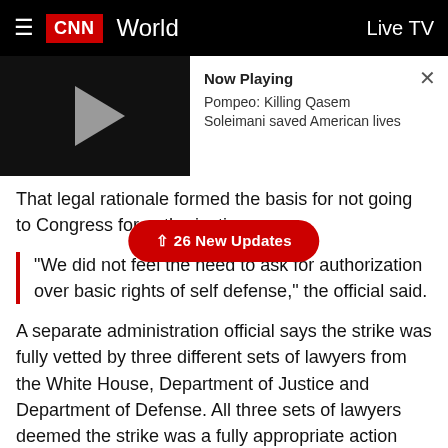CNN World — Live TV
[Figure (screenshot): CNN video player thumbnail showing now playing: Pompeo: Killing Qasem Soleimani saved American lives]
That legal rationale formed the basis for not going to Congress for authorization.
↑ 26 New Updates
"We did not feel the need to ask for authorization over basic rights of self defense," the official said.
A separate administration official says the strike was fully vetted by three different sets of lawyers from the White House, Department of Justice and Department of Defense. All three sets of lawyers deemed the strike was a fully appropriate action and 100% lawful.
Part of the legal reasoning was that Soleimani was